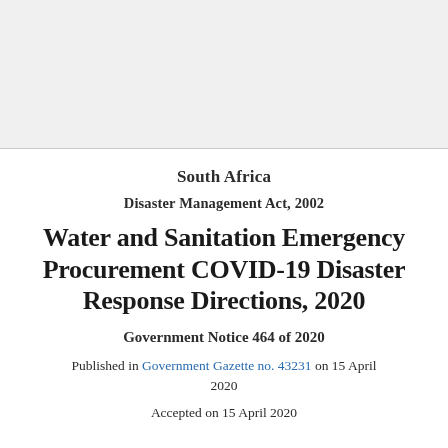South Africa
Disaster Management Act, 2002
Water and Sanitation Emergency Procurement COVID-19 Disaster Response Directions, 2020
Government Notice 464 of 2020
Published in Government Gazette no. 43231 on 15 April 2020
Accepted on 15 April 2020